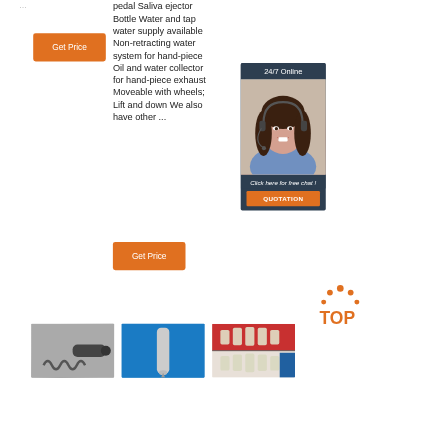...
[Figure (other): Orange 'Get Price' button on the left side]
pedal Saliva ejector Bottle Water and tap water supply available Non-retracting water system for hand-piece Oil and water collector for hand-piece exhaust Moveable with wheels; Lift and down We also have other ...
[Figure (other): Orange 'Get Price' button below main text]
[Figure (other): 24/7 Online customer service sidebar with photo of woman with headset, 'Click here for free chat!' text, and orange QUOTATION button]
[Figure (other): TOP navigation icon with orange dots and text]
[Figure (other): Three product thumbnail images at bottom: dental handpiece cable (grayscale), dental tool on blue background, dental X-ray images]